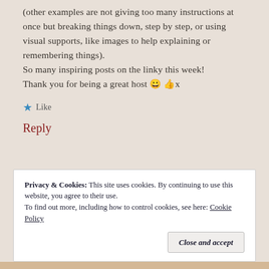(other examples are not giving too many instructions at once but breaking things down, step by step, or using visual supports, like images to help explaining or remembering things).
So many inspiring posts on the linky this week!
Thank you for being a great host 😀 👍x
★ Like
Reply
Privacy & Cookies: This site uses cookies. By continuing to use this website, you agree to their use.
To find out more, including how to control cookies, see here: Cookie Policy
Close and accept